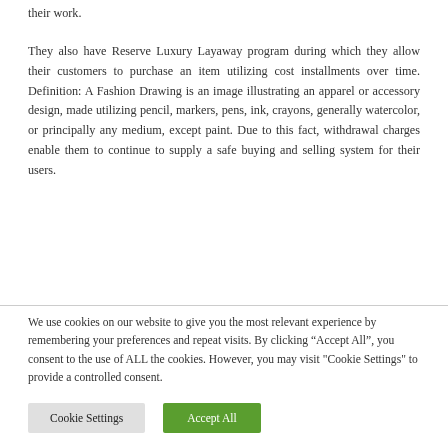their work.
They also have Reserve Luxury Layaway program during which they allow their customers to purchase an item utilizing cost installments over time. Definition: A Fashion Drawing is an image illustrating an apparel or accessory design, made utilizing pencil, markers, pens, ink, crayons, generally watercolor, or principally any medium, except paint. Due to this fact, withdrawal charges enable them to continue to supply a safe buying and selling system for their users.
We use cookies on our website to give you the most relevant experience by remembering your preferences and repeat visits. By clicking “Accept All”, you consent to the use of ALL the cookies. However, you may visit "Cookie Settings" to provide a controlled consent.